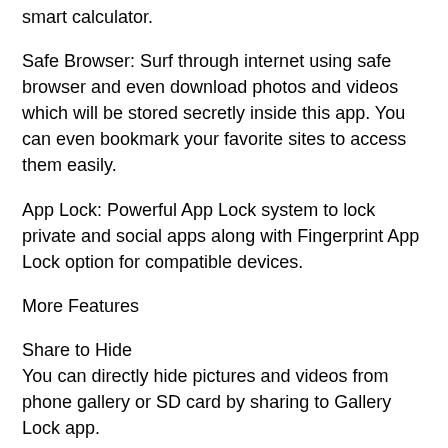smart calculator.
Safe Browser: Surf through internet using safe browser and even download photos and videos which will be stored secretly inside this app. You can even bookmark your favorite sites to access them easily.
App Lock: Powerful App Lock system to lock private and social apps along with Fingerprint App Lock option for compatible devices.
More Features
Share to Hide
You can directly hide pictures and videos from phone gallery or SD card by sharing to Gallery Lock app.
Fake Vault
Create Fake vault with different password for storing fake photos and videos.